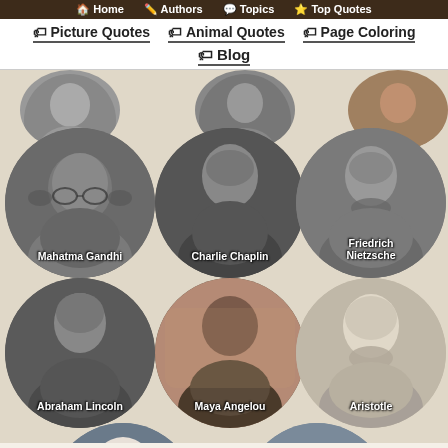Home  Authors  Topics  Top Quotes
Picture Quotes  Animal Quotes  Page Coloring  Blog
[Figure (photo): Grid of circular portrait photos of famous authors/philosophers. Partial circles at top row. Row 1: Mahatma Gandhi, Charlie Chaplin, Friedrich Nietzsche. Row 2: Abraham Lincoln, Maya Angelou, Aristotle. Row 3 (partial): Mother Teresa, grey placeholder circle.]